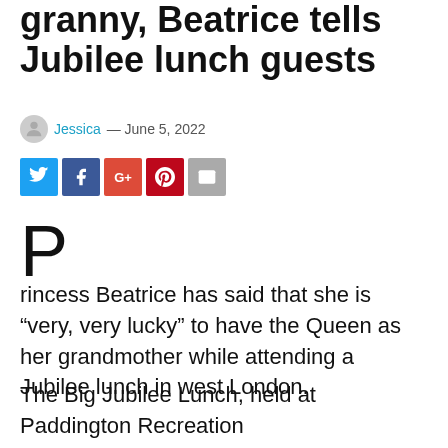granny, Beatrice tells Jubilee lunch guests
Jessica — June 5, 2022
[Figure (other): Social media share buttons: Twitter, Facebook, Google+, Pinterest, Email]
P
rincess Beatrice has said that she is "very, very lucky" to have the Queen as her grandmother while attending a Jubilee lunch in west London.
The Big Jubilee Lunch, held at Paddington Recreation